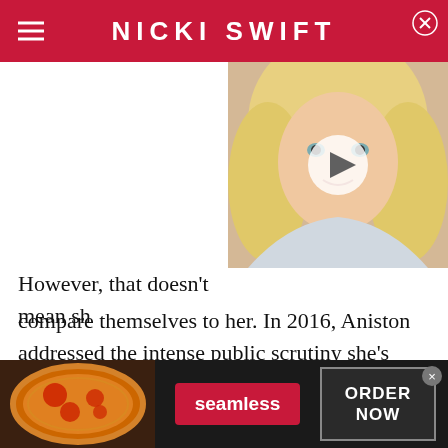NICKI SWIFT
[Figure (photo): Blonde woman headshot with video play button overlay]
However, that doesn't mean she wants others to compare themselves to her. In 2016, Aniston addressed the intense public scrutiny she's encountered throughout her career in a piece she penned for Huffington Post. "The objectification and scrutiny we put women through is absurd and disturbing," she wrote. "The message that girls are not pretty unless they're
[Figure (photo): Seamless food delivery advertisement banner with pizza image, Seamless logo button, and ORDER NOW button]